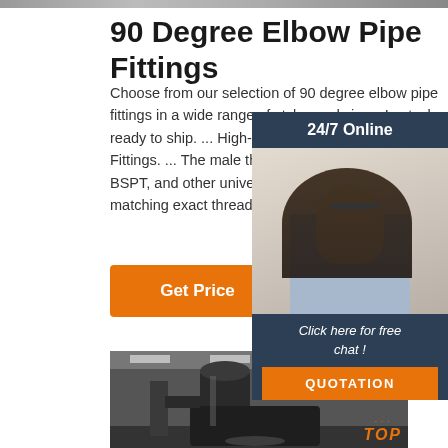[Figure (photo): Gray strip at top of page, partial image]
90 Degree Elbow Pipe Fittings
Choose from our selection of 90 degree elbow pipe fittings in a wide range of styles and sizes. In stock and ready to ship. ... High-Pressure Stainless Steel Pipe Fittings. ... The male threaded ends conn NPTF, BSPP, BSPT, and other universal threa don't have to bother matching exact thread typ
[Figure (photo): Get Price orange button]
[Figure (photo): 24/7 Online support widget with woman wearing headset, dark blue background, Click here for free chat!, QUOTATION button]
[Figure (photo): Factory interior with large industrial pipe elbow fittings; industrial warehouse setting with ceiling lights. TOP label in orange at bottom right.]